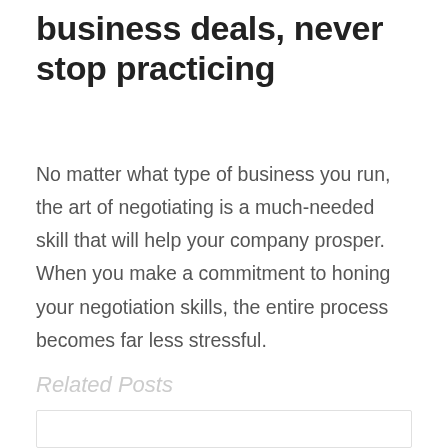business deals, never stop practicing
No matter what type of business you run, the art of negotiating is a much-needed skill that will help your company prosper. When you make a commitment to honing your negotiation skills, the entire process becomes far less stressful.
Related Posts